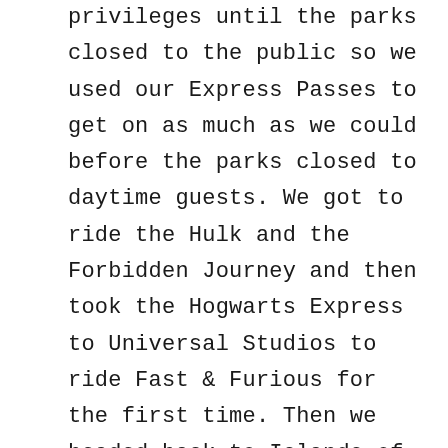privileges until the parks closed to the public so we used our Express Passes to get on as much as we could before the parks closed to daytime guests. We got to ride the Hulk and the Forbidden Journey and then took the Hogwarts Express to Universal Studios to ride Fast & Furious for the first time. Then we headed back to Islands of Adventure because that park had closed to daytime guests and we took the opportunity to ride rides with no wait time. We were able to get on the Forbidden Journey, Flight of the Hippogriff, Amazing Spiderman, Cat in the Hat, and went back on the Hogwarts Express to Universal Studios.